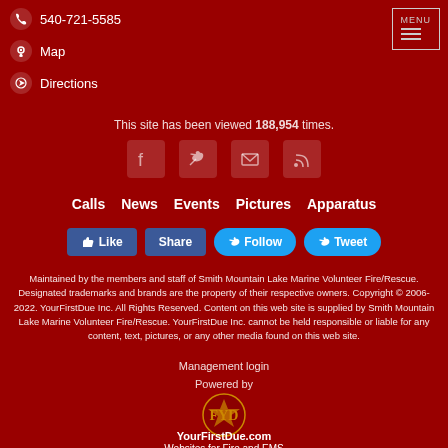540-721-5585
Map
Directions
This site has been viewed 188,954 times.
[Figure (infographic): Social media icons: Facebook, Twitter, Email, RSS]
Calls
News
Events
Pictures
Apparatus
[Figure (infographic): Social buttons: Like, Share, Follow, Tweet]
Maintained by the members and staff of Smith Mountain Lake Marine Volunteer Fire/Rescue. Designated trademarks and brands are the property of their respective owners. Copyright © 2006-2022. YourFirstDue Inc. All Rights Reserved. Content on this web site is supplied by Smith Mountain Lake Marine Volunteer Fire/Rescue. YourFirstDue Inc. cannot be held responsible or liable for any content, text, pictures, or any other media found on this web site.
Management login
Powered by
[Figure (logo): YourFirstDue logo emblem]
YourFirstDue.com
Websites for Fire and EMS